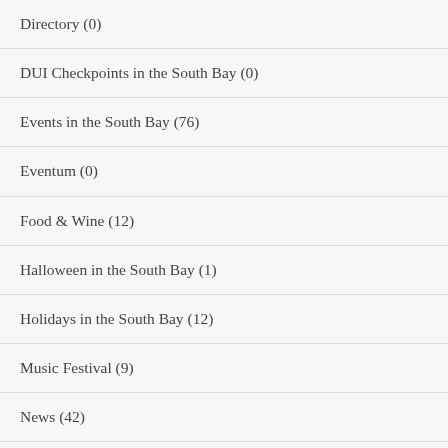Directory (0)
DUI Checkpoints in the South Bay (0)
Events in the South Bay (76)
Eventum (0)
Food & Wine (12)
Halloween in the South Bay (1)
Holidays in the South Bay (12)
Music Festival (9)
News (42)
Nightlife (2)